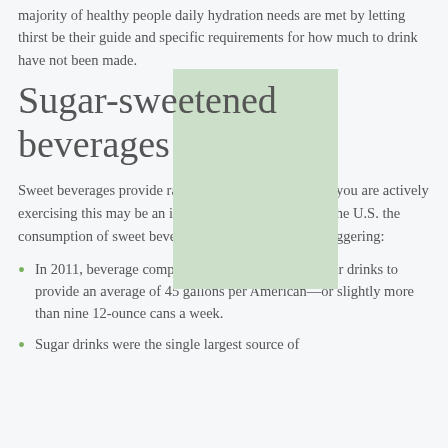majority of healthy people daily hydration needs are met by letting thirst be their guide and specific requirements for how much to drink have not been made.
Sugar-sweetened beverages
Sweet beverages provide rapid access to energy. So, if you are actively exercising this may be an important source of fuel. In the U.S. the consumption of sweet beverages (soda and juice) is staggering:
In 2011, beverage companies produced enough sugar drinks to provide an average of 45 gallons per American—or slightly more than nine 12-ounce cans a week.
Sugar drinks were the single largest source of